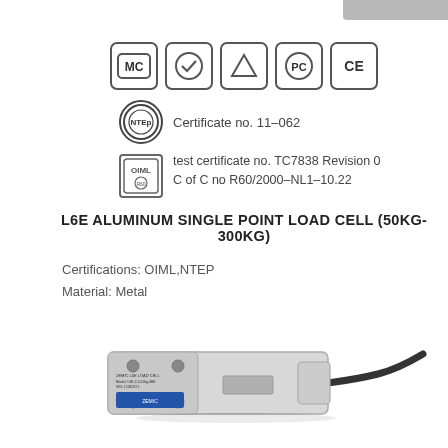[Figure (illustration): Gray bar at top right corner, partial view of product or header element]
[Figure (illustration): Row of 5 certification logos: MC (in rounded square), checkmark in circle, triangle/warning symbol, PC with circle, CE mark]
Certificate no. 11-062
test certificate no. TC7838 Revision 0
C of C no R60/2000-NL1-10.22
L6E ALUMINUM SINGLE POINT LOAD CELL (50KG-300KG)
Certifications: OIML,NTEP
Material: Metal
[Figure (photo): Photo of L6E aluminum single point load cell - a rectangular metallic block with mounting holes and a cable attached]